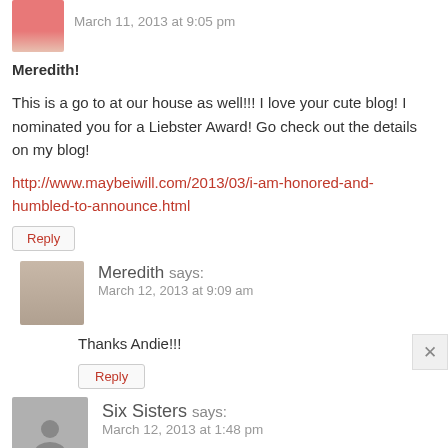March 11, 2013 at 9:05 pm
Meredith!
This is a go to at our house as well!!! I love your cute blog! I nominated you for a Liebster Award! Go check out the details on my blog!
http://www.maybeiwill.com/2013/03/i-am-honored-and-humbled-to-announce.html
Reply
Meredith says:
March 12, 2013 at 9:09 am
Thanks Andie!!!
Reply
Six Sisters says:
March 12, 2013 at 1:48 pm
Your crock pot chicken chili looks so delicious! We can't wait to try it. We would love to have you share it